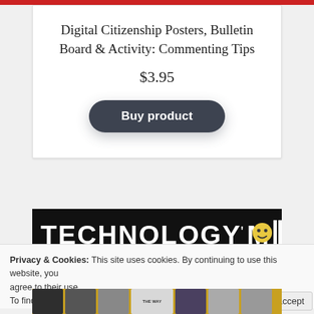Digital Citizenship Posters, Bulletin Board & Activity: Commenting Tips
$3.95
Buy product
[Figure (screenshot): TECHNOLOGY'MA logo/banner — white bold text on black background with a small emoji-style face icon]
Privacy & Cookies: This site uses cookies. By continuing to use this website, you agree to their use.
To find out more, including how to control cookies, see here: Cookie Policy
Close and accept
[Figure (screenshot): Bottom thumbnail strip showing small preview images of educational content on an orange/yellow background]